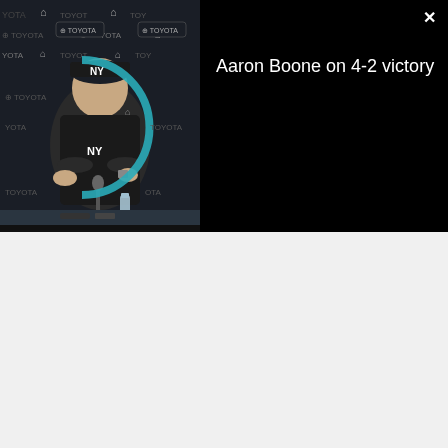[Figure (screenshot): Video thumbnail showing a man (Aaron Boone, NY Yankees manager) seated at a press conference table with NY Yankees and Toyota branding backdrop. A teal/cyan partial circle graphic is overlaid. The right side shows a black panel with the title 'Aaron Boone on 4-2 victory' in white text and a close (×) button in the top right corner.]